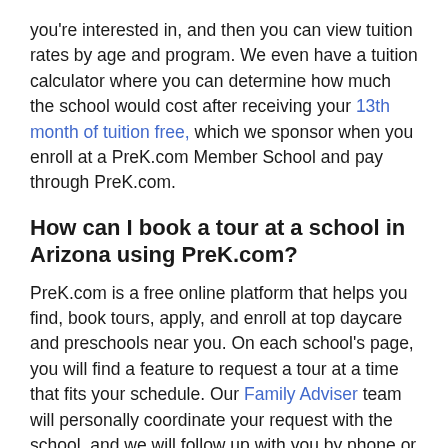you're interested in, and then you can view tuition rates by age and program. We even have a tuition calculator where you can determine how much the school would cost after receiving your 13th month of tuition free, which we sponsor when you enroll at a PreK.com Member School and pay through PreK.com.
How can I book a tour at a school in Arizona using PreK.com?
PreK.com is a free online platform that helps you find, book tours, apply, and enroll at top daycare and preschools near you. On each school's page, you will find a feature to request a tour at a time that fits your schedule. Our Family Adviser team will personally coordinate your request with the school, and we will follow up with you by phone or email to confirm the time once the tour has been booked. After you tour one or multiple schools, and you are ready to enroll, PreK.com